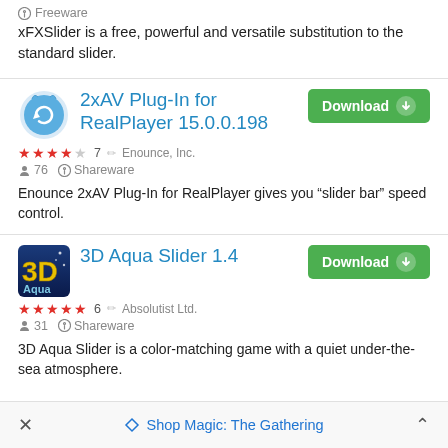Freeware
xFXSlider is a free, powerful and versatile substitution to the standard slider.
2xAV Plug-In for RealPlayer 15.0.0.198
★★★★☆  7   Enounce, Inc.   👤 76   Shareware   Download
Enounce 2xAV Plug-In for RealPlayer gives you “slider bar” speed control.
3D Aqua Slider 1.4
★★★★★  6   Absolutist Ltd.   👤 31   Shareware   Download
3D Aqua Slider is a color-matching game with a quiet under-the-sea atmosphere.
Non-reviewed
Shop Magic: The Gathering